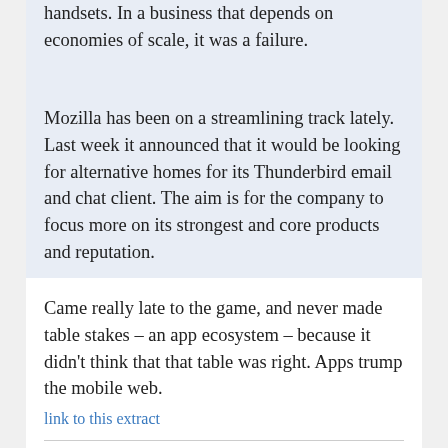handsets. In a business that depends on economies of scale, it was a failure.
Mozilla has been on a streamlining track lately. Last week it announced that it would be looking for alternative homes for its Thunderbird email and chat client. The aim is for the company to focus more on its strongest and core products and reputation.
Came really late to the game, and never made table stakes – an app ecosystem – because it didn't think that that table was right. Apps trump the mobile web.
link to this extract
Drones save over two hundred people in Chennai floods »